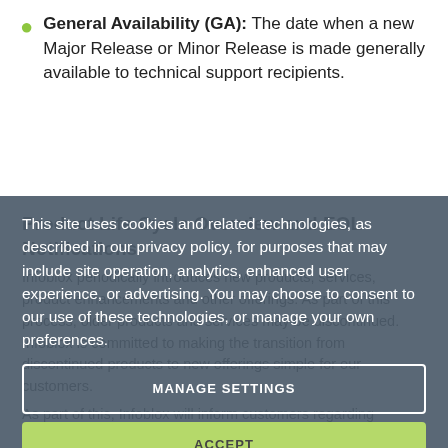General Availability (GA): The date when a new Major Release or Minor Release is made generally available to technical support recipients.
Product Life Cycle Overview and EOL Notifications
Infoblox periodically introduces new products, services, product enhancements and other offerings. As part of this process, older products and services may be discontinued. Infoblox is committed to making the transition from discontinued products to new offerings simple for our customers.
As part of this, Infoblox will inform customers regarding important milestones including the initial EOLA notification, LOD, and EOL milestone dates, as described below.
Infoblox normally provides EOL notification to our
This site uses cookies and related technologies, as described in our privacy policy, for purposes that may include site operation, analytics, enhanced user experience, or advertising. You may choose to consent to our use of these technologies, or manage your own preferences.